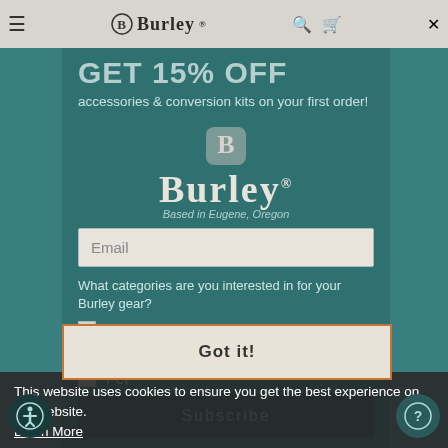Burley
GET 15% OFF
accessories & conversion kits on your first order!
[Figure (logo): Burley logo with stylized B emblem above the word Burley with registered trademark symbol, and tagline Based in Eugene, Oregon]
Email
What categories are you interested in for your Burley gear?
Cargo
Kid
Pet
This website uses cookies to ensure you get the best experience on our website.
Learn More
Got it!
Subscribe